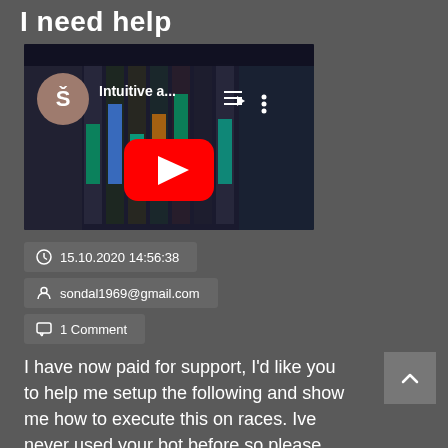I need help
[Figure (screenshot): YouTube video thumbnail showing 'Intuitive a...' with a red play button overlay, dark trading software interface in background, profile icon 'Š' in top-left corner]
🕐 15.10.2020 14:56:38
👤 sondal1969@gmail.com
💬 1 Comment
I have now paid for support, I'd like you to help me setup the following and show me how to execute this on races. Ive never used your bot before so please give a step by step instruction:   A Place bet bot Execute Till Target Profit  Conditions: